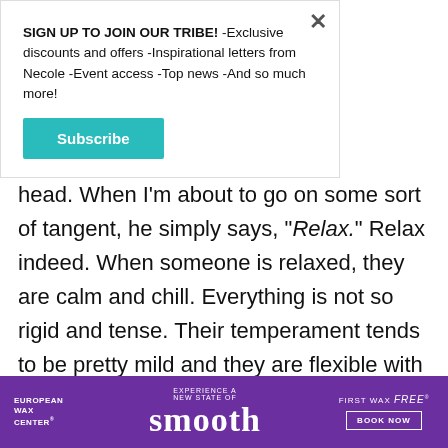SIGN UP TO JOIN OUR TRIBE! -Exclusive discounts and offers -Inspirational letters from Necole -Event access -Top news -And so much more!
Subscribe
head. When I'm about to go on some sort of tangent, he simply says, "Relax." Relax indeed. When someone is relaxed, they are calm and chill. Everything is not so rigid and tense. Their temperament tends to be pretty mild and they are flexible with things. They can compromise. They can listen. Their stress and anxiety levels are lower. They exude ease, composure and tranquility. Relaxed
[Figure (infographic): European Wax Center advertisement banner with purple background. Text reads: EUROPEAN WAX CENTER, EXPERIENCE A NEW STATE OF smooth, FIRST WAX free BOOK NOW]